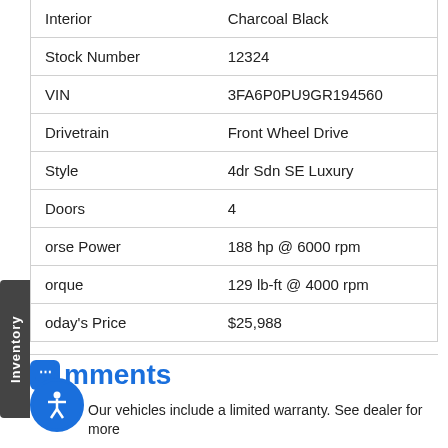| Attribute | Value |
| --- | --- |
| Interior | Charcoal Black |
| Stock Number | 12324 |
| VIN | 3FA6P0PU9GR194560 |
| Drivetrain | Front Wheel Drive |
| Style | 4dr Sdn SE Luxury |
| Doors | 4 |
| Horse Power | 188 hp @ 6000 rpm |
| Torque | 129 lb-ft @ 4000 rpm |
| Today's Price | $25,988 |
Comments
Our vehicles include a limited warranty. See dealer for more